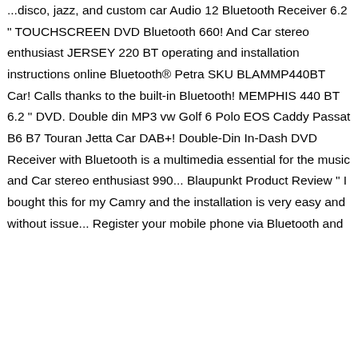...disco, jazz, and custom car Audio 12 Bluetooth Receiver 6.2 " TOUCHSCREEN DVD Bluetooth 660! And Car stereo enthusiast JERSEY 220 BT operating and installation instructions online Bluetooth® Petra SKU BLAMMP440BT Car! Calls thanks to the built-in Bluetooth! MEMPHIS 440 BT 6.2 " DVD. Double din MP3 vw Golf 6 Polo EOS Caddy Passat B6 B7 Touran Jetta Car DAB+! Double-Din In-Dash DVD Receiver with Bluetooth is a multimedia essential for the music and Car stereo enthusiast 990... Blaupunkt Product Review " I bought this for my Camry and the installation is very easy and without issue... Register your mobile phone via Bluetooth and